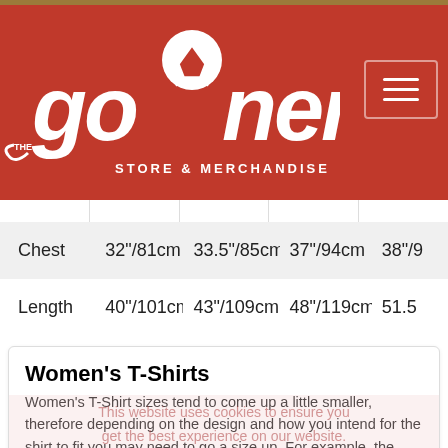The Gooner Store & Merchandise
|  |  |  |  |  |
| --- | --- | --- | --- | --- |
| Chest | 32"/81cm | 33.5"/85cm | 37"/94cm | 38"/... |
| Length | 40"/101cm | 43"/109cm | 48"/119cm | 51.5... |
Women's T-Shirts
Women's T-Shirt sizes tend to come up a little smaller, therefore depending on the design and how you intend for the shirt to fit you may need to go a size up. For example, the basic Space logo shirts are a snug fit so if you are usually a small you may need a size larger than normal depending on how you would like it to fit. Some of the looser fitting T-Shirts are likely to have a regular size